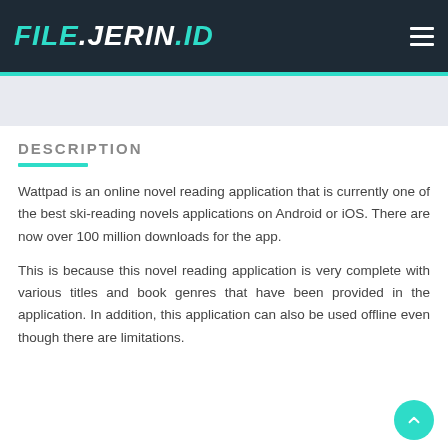FILE.JERIN.ID
DESCRIPTION
Wattpad is an online novel reading application that is currently one of the best ski-reading novels applications on Android or iOS. There are now over 100 million downloads for the app.
This is because this novel reading application is very complete with various titles and book genres that have been provided in the application. In addition, this application can also be used offline even though there are limitations.